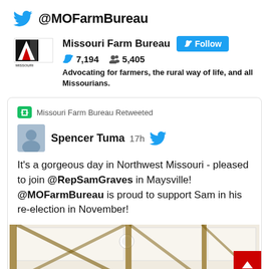@MOFarmBureau
[Figure (screenshot): Missouri Farm Bureau Twitter profile showing name, Follow button, 7,194 tweets, 5,405 followers, and bio: Advocating for farmers, the rural way of life, and all Missourians.]
[Figure (screenshot): Tweet card: Missouri Farm Bureau Retweeted. Spencer Tuma 17h. It's a gorgeous day in Northwest Missouri - pleased to join @RepSamGraves in Maysville! @MOFarmBureau is proud to support Sam in his re-election in November! With interior barn ceiling photo.]